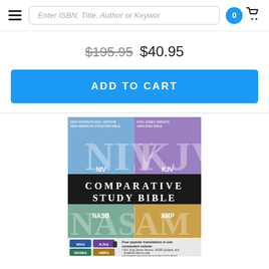Enter ISBN, Title, Author or Keyword
$195.95  $40.95
ADD TO CART
[Figure (photo): Book cover of NIV KJV Comparative Study Bible, NASB AMP edition, showing four quadrants in blue, purple, teal, and orange with large letters for each Bible version abbreviation and descriptive text on the back.]